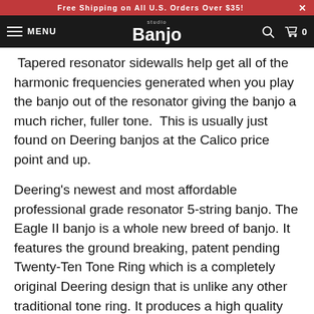Free Shipping on All U.S. Orders Over $35!
studio Banjo — MENU — search — cart 0
Tapered resonator sidewalls help get all of the harmonic frequencies generated when you play the banjo out of the resonator giving the banjo a much richer, fuller tone.  This is usually just found on Deering banjos at the Calico price point and up.
Deering's newest and most affordable professional grade resonator 5-string banjo. The Eagle II banjo is a whole new breed of banjo. It features the ground breaking, patent pending Twenty-Ten Tone Ring which is a completely original Deering design that is unlike any other traditional tone ring. It produces a high quality sound that is versatile for many styles of playing. While the sound is uniquely Eagle, it represents a refinement in the quality of banjo tone.